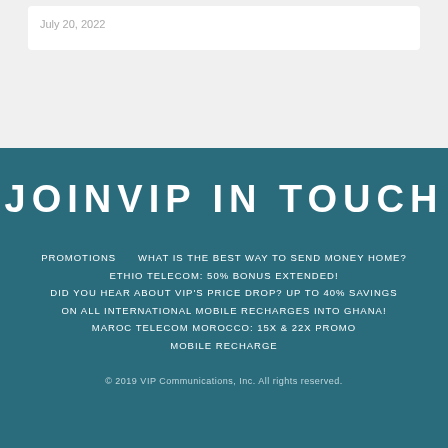July 20, 2022
JOINVIP IN TOUCH
PROMOTIONS    WHAT IS THE BEST WAY TO SEND MONEY HOME? ETHIO TELECOM: 50% BONUS EXTENDED! DID YOU HEAR ABOUT VIP'S PRICE DROP? UP TO 40% SAVINGS ON ALL INTERNATIONAL MOBILE RECHARGES INTO GHANA! MAROC TELECOM MOROCCO: 15X & 22X PROMO MOBILE RECHARGE
© 2019 VIP Communications, Inc. All rights reserved.